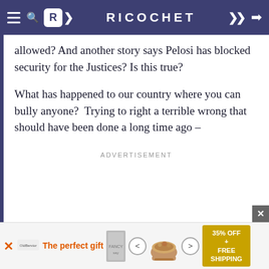RICOCHET
allowed? And another story says Pelosi has blocked security for the Justices? Is this true?
What has happened to our country where you can bully anyone?  Trying to right a terrible wrong that should have been done a long time ago –
ADVERTISEMENT
[Figure (infographic): Bottom advertisement banner: 'The perfect gift' with 35% OFF + FREE SHIPPING promotional offer showing food bowl product]